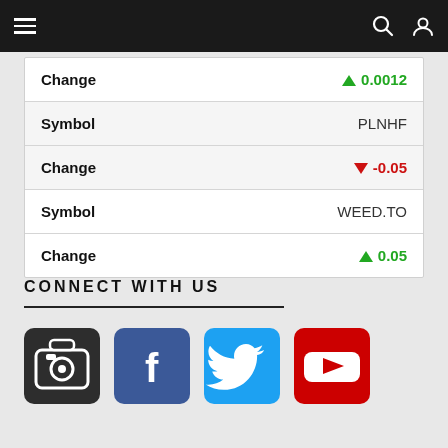Navigation bar with hamburger menu, search and user icons
| Change | ↑ 0.0012 |
| Symbol | PLNHF |
| Change | ↓ -0.05 |
| Symbol | WEED.TO |
| Change | ↑ 0.05 |
CONNECT WITH US
[Figure (logo): Instagram logo icon (dark grey square with camera)]
[Figure (logo): Facebook logo icon (blue square with f)]
[Figure (logo): Twitter logo icon (blue square with bird)]
[Figure (logo): YouTube logo icon (red square with play button)]